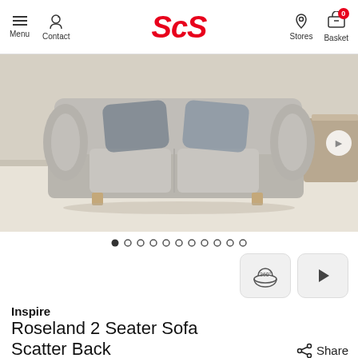Menu | Contact | ScS | Stores | Basket
[Figure (photo): A grey fabric 2-seater sofa with scroll arms and scatter cushions, displayed in a living room setting with beige carpet and soft background lighting. Navigation arrow visible on the right side.]
● ○ ○ ○ ○ ○ ○ ○ ○ ○ ○ (image carousel dots, first dot active)
[Figure (infographic): Two buttons: a 360-degree view button and a video play button]
Inspire
Roseland 2 Seater Sofa Scatter Back
Share
HUNDREDS OF PRICES DOWN | UP TO 50% OFF SOFAS & CARPETS